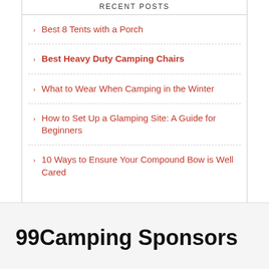RECENT POSTS
Best 8 Tents with a Porch
Best Heavy Duty Camping Chairs
What to Wear When Camping in the Winter
How to Set Up a Glamping Site: A Guide for Beginners
10 Ways to Ensure Your Compound Bow is Well Cared
99Camping Sponsors